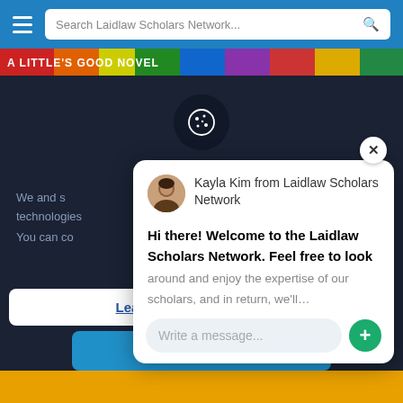Search Laidlaw Scholars Network...
[Figure (screenshot): Colorful book/banner strip at top]
[Figure (illustration): Cookie consent icon - dark circle with cookie outline]
We and s... technologies
You can co...
Kayla Kim from Laidlaw Scholars Network
Hi there! Welcome to the Laidlaw Scholars Network. Feel free to look around and enjoy the expertise of our scholars, and in return, we'll...
Write a message...
Learn more and customise
Accept All